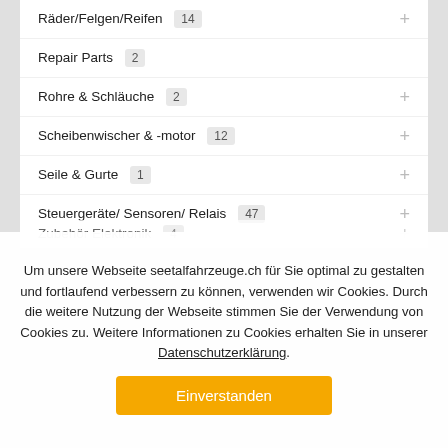Räder/Felgen/Reifen 14
Repair Parts 2
Rohre & Schläuche 2
Scheibenwischer & -motor 12
Seile & Gurte 1
Steuergeräte/ Sensoren/ Relais 47
Taschen, Organizer 1
Teile 327
Zubehör Elektronik 4
Um unsere Webseite seetalfahrzeuge.ch für Sie optimal zu gestalten und fortlaufend verbessern zu können, verwenden wir Cookies. Durch die weitere Nutzung der Webseite stimmen Sie der Verwendung von Cookies zu. Weitere Informationen zu Cookies erhalten Sie in unserer Datenschutzerklärung.